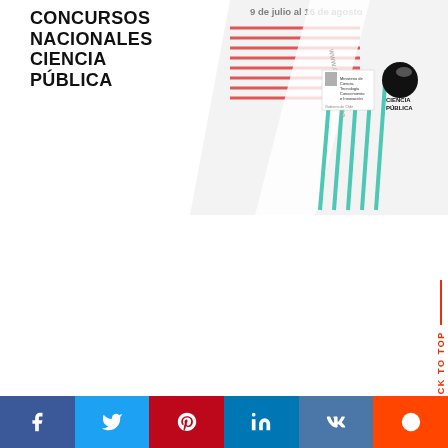CONCURSOS NACIONALES CIENCIA PÚBLICA
9 de julio al 16 de agosto
[Figure (illustration): Promotional banner for Concursos Nacionales Ciencia Pública featuring decorative graphic elements including red horizontal lines, teal vertical lines, diagonal white stripe, website URL www.cienciapublica, government ministry logo, and Ciencia Pública candy logo.]
BACK TO TOP